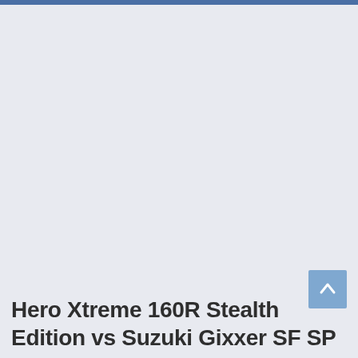[Figure (other): Large light gray/blue background area, empty content region of a web page screenshot]
Hero Xtreme 160R Stealth Edition vs Suzuki Gixxer SF SP